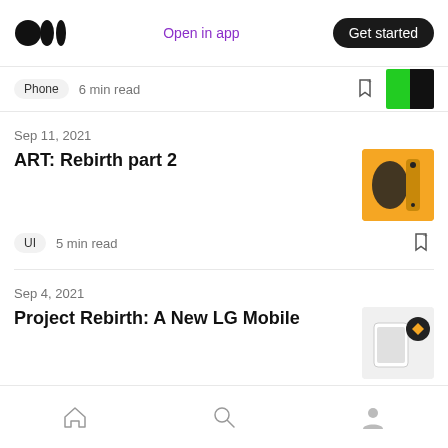Medium logo | Open in app | Get started
Phone · 6 min read
Sep 11, 2021
ART: Rebirth part 2
UI · 5 min read
Sep 4, 2021
Project Rebirth: A New LG Mobile
LG · 4 min read
Home | Search | Profile